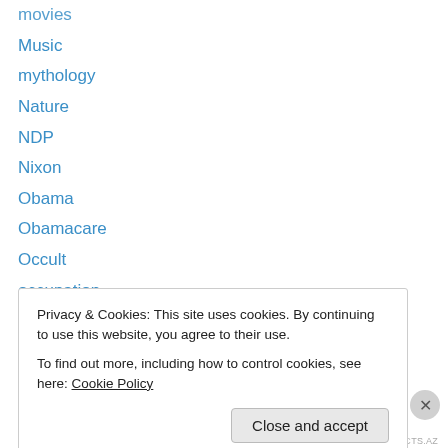movies
Music
mythology
Nature
NDP
Nixon
Obama
Obamacare
Occult
occupation
Occupy
oil
origins
Ottawa
Privacy & Cookies: This site uses cookies. By continuing to use this website, you agree to their use.
To find out more, including how to control cookies, see here: Cookie Policy
REDIRECTS.AZ